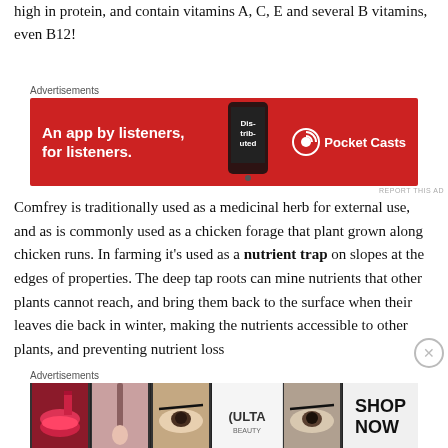high in protein, and contain vitamins A, C, E and several B vitamins, even B12!
[Figure (other): Pocket Casts advertisement: red background with phone image showing 'Distributed' app. Text reads 'An app by listeners, for listeners.' with Pocket Casts logo on right.]
Comfrey is traditionally used as a medicinal herb for external use, and as is commonly used as a chicken forage that plant grown along chicken runs. In farming it's used as a nutrient trap on slopes at the edges of properties. The deep tap roots can mine nutrients that other plants cannot reach, and bring them back to the surface when their leaves die back in winter, making the nutrients accessible to other plants, and preventing nutrient loss
[Figure (other): ULTA Beauty advertisement showing makeup images: lips, brush, eye makeup, ULTA logo, eye makeup, with SHOP NOW text on right.]